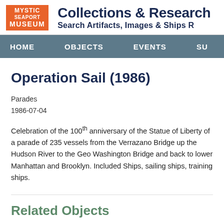Mystic Seaport Museum — Collections & Research — Search Artifacts, Images & Ships
HOME   OBJECTS   EVENTS   SU
Operation Sail (1986)
Parades
1986-07-04
Celebration of the 100th anniversary of the Statue of Liberty of a parade of 235 vessels from the Verrazano Bridge up the Hudson River to the George Washington Bridge and back to lower Manhattan and Brooklyn. Included Ships, sailing ships, training ships.
Related Objects